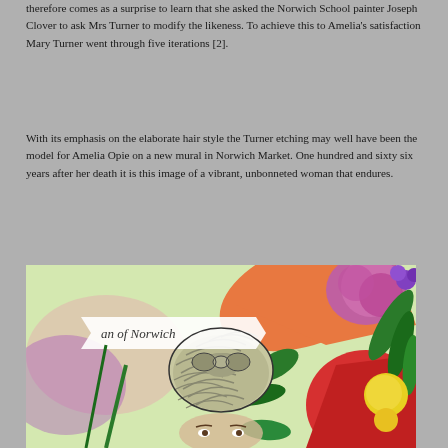therefore comes as a surprise to learn that she asked the Norwich School painter Joseph Clover to ask Mrs Turner to modify the likeness. To achieve this to Amelia's satisfaction Mary Turner went through five iterations [2].
With its emphasis on the elaborate hair style the Turner etching may well have been the model for Amelia Opie on a new mural in Norwich Market. One hundred and sixty six years after her death it is this image of a vibrant, unbonneted woman that endures.
[Figure (illustration): Colorful illustration/mural detail showing the elaborate upswept hairstyle of Amelia Opie, surrounded by flowers and colorful abstract shapes in green, orange, red, purple and pink. A banner reads 'Woman of Norwich'.]